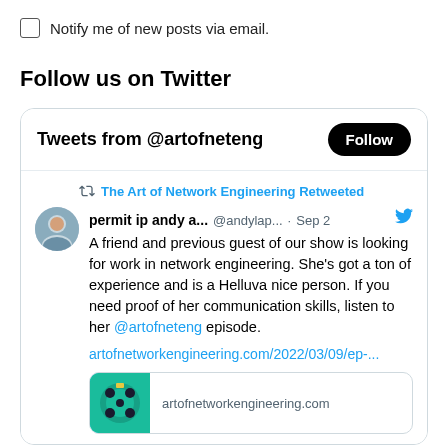Notify me of new posts via email.
Follow us on Twitter
[Figure (screenshot): Twitter widget showing 'Tweets from @artofneteng' with a Follow button, a retweet by The Art of Network Engineering from @andylap... dated Sep 2, with tweet text: 'A friend and previous guest of our show is looking for work in network engineering. She's got a ton of experience and is a Helluva nice person. If you need proof of her communication skills, listen to her @artofneteng episode.' followed by a link artofnetworkengineering.com/2022/03/09/ep-... and a preview card showing artofnetworkengineering.com]